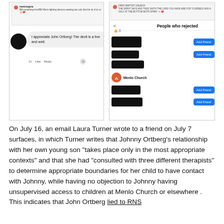[Figure (screenshot): Two screenshots side by side. Left: Facebook comment showing 'I appreciate John Ortberg! The devil is a live and well.' with Like/Reply. Right: Facebook 'People who rejected' screen with redacted profile names and Add Friend buttons, showing Menlo Church entry.]
On July 16, an email Laura Turner wrote to a friend on July 7 surfaces, in which Turner writes that Johnny Ortberg's relationship with her own young son “takes place only in the most appropriate contexts” and that she had “consulted with three different therapists” to determine appropriate boundaries for her child to have contact with Johnny, while having no objection to Johnny having unsupervised access to children at Menlo Church or elsewhere . This indicates that John Ortberg lied to RNS and he had shared that “no one had raise the matter with me”